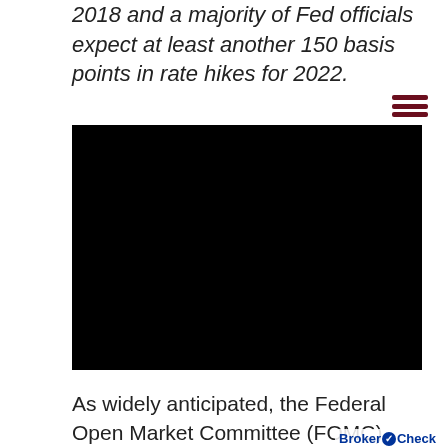2018 and a majority of Fed officials expect at least another 150 basis points in rate hikes for 2022.
[Figure (other): Black video player embed block]
As widely anticipated, the Federal Open Market Committee (FOMC) raised the target range for the federal funds rate (the overnight lending rate) by 25 basis points (bps) to 0.25-0.50% at its March meeting